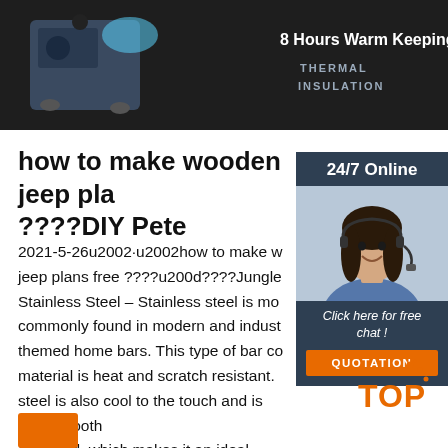[Figure (photo): Top banner showing a dark background with a food warming appliance on wheels on the left, text reading '8 Hours Warm Keeping' and 'THERMAL INSULATION' on the right in white/grey text.]
how to make wooden jeep plans ????DIY Pete
2021-5-26u2002·u2002how to make wooden jeep plans free ????u200d????Jungle Stainless Steel – Stainless steel is most commonly found in modern and industrial-themed home bars. This type of bar counter material is heat and scratch resistant. Stainless steel is also cool to the touch and is very smooth and solid, which makes it an ideal preparation and working area.
[Figure (infographic): Sidebar widget with '24/7 Online' header, photo of a female customer service representative with headset, 'Click here for free chat!' text, and orange QUOTATION button.]
[Figure (logo): Orange TOP logo with dots in lower right corner of page.]